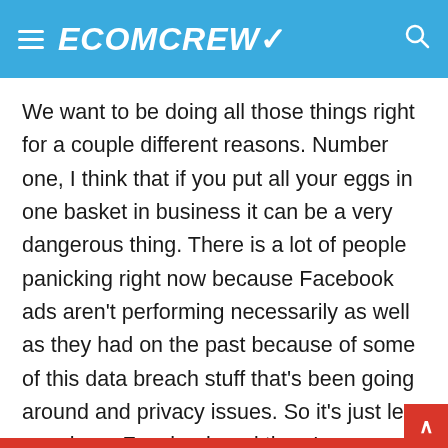ECOMCREW
We want to be doing all those things right for a couple different reasons. Number one, I think that if you put all your eggs in one basket in business it can be a very dangerous thing. There is a lot of people panicking right now because Facebook ads aren't performing necessarily as well as they had on the past because of some of this data breach stuff that's been going around and privacy issues. So it's just less people on Facebook and there's more people or just as many people are trying to reach fewer people.